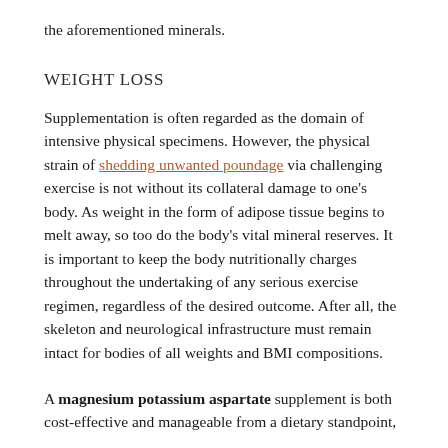the aforementioned minerals.
WEIGHT LOSS
Supplementation is often regarded as the domain of intensive physical specimens. However, the physical strain of shedding unwanted poundage via challenging exercise is not without its collateral damage to one’s body. As weight in the form of adipose tissue begins to melt away, so too do the body’s vital mineral reserves. It is important to keep the body nutritionally charges throughout the undertaking of any serious exercise regimen, regardless of the desired outcome. After all, the skeleton and neurological infrastructure must remain intact for bodies of all weights and BMI compositions.
A magnesium potassium aspartate supplement is both cost-effective and manageable from a dietary standpoint,